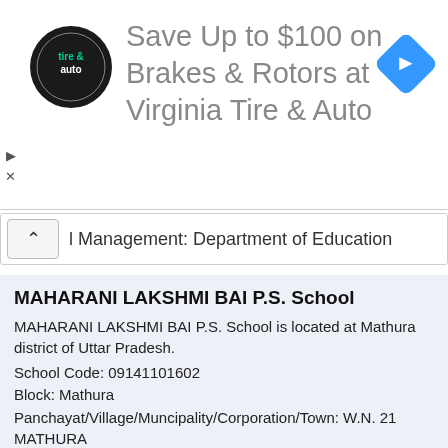[Figure (logo): Virginia Tire & Auto advertisement banner with logo and navigation arrow diamond icon. Text: Save Up to $100 on Brakes & Rotors at Virginia Tire & Auto]
l Management: Department of Education
MAHARANI LAKSHMI BAI P.S. School
MAHARANI LAKSHMI BAI P.S. School is located at Mathura district of Uttar Pradesh.
School Code: 09141101602
Block: Mathura
Panchayat/Village/Muncipality/Corporation/Town: W.N. 21 MATHURA
Rural/Urban: Urban
School Category: Primary
School Management: Department of Education